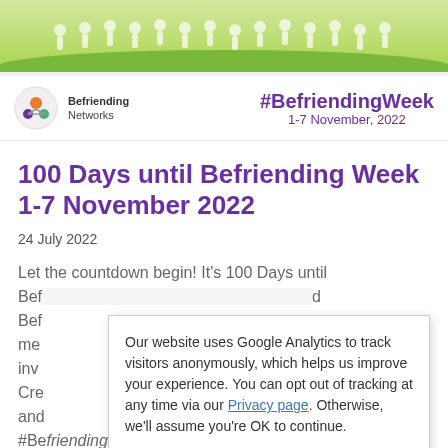[Figure (illustration): Banner image showing diverse illustrated people standing together on a green grassy background.]
[Figure (logo): Befriending Networks logo with circular icon of interconnected figures, and #BefriendingWeek 1-7 November, 2022 text in purple.]
100 Days until Befriending Week 1-7 November 2022
24 July 2022
Let the countdown begin! It's 100 Days until Befriending Week 1-7 November 2022 and Befriending Networks are asking you to help spread the message, get involved... Create... and #Befriendingis.
Our website uses Google Analytics to track visitors anonymously, which helps us improve your experience. You can opt out of tracking at any time via our Privacy page. Otherwise, we'll assume you're OK to continue. I'm fine with this  Learn more